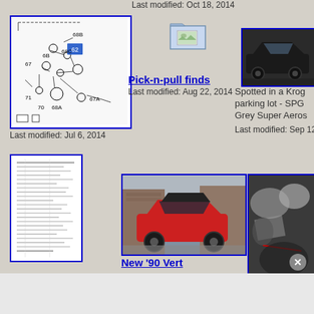Last modified: Oct 18, 2014
[Figure (engineering-diagram): Technical parts diagram showing numbered components 67, 67A, 68A, 68B, 68C, 69, 70, 71 with connecting lines and labels]
[Figure (illustration): Folder icon with small image thumbnail]
Pick-n-pull finds
Last modified: Aug 22, 2014
[Figure (photo): Black sports car in parking lot - SPG Grey Super Aeros]
Spotted in a Krog parking lot - SPG Grey Super Aeros
Last modified: Sep 12
Last modified: Jul 6, 2014
[Figure (screenshot): Document with dense text/data lines]
[Figure (photo): Red convertible car parked outside brick building]
New '90 Vert
[Figure (photo): Close-up photo with mixed materials, red line visible]